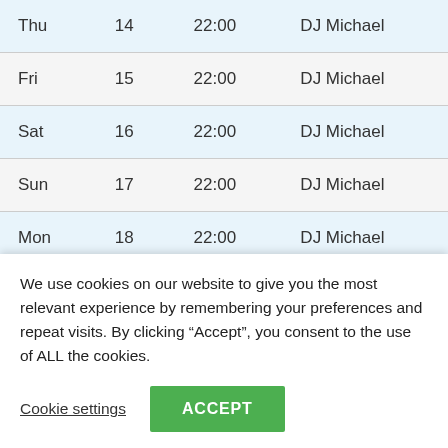| Day | Date | Time | DJ |
| --- | --- | --- | --- |
| Thu | 14 | 22:00 | DJ Michael |
| Fri | 15 | 22:00 | DJ Michael |
| Sat | 16 | 22:00 | DJ Michael |
| Sun | 17 | 22:00 | DJ Michael |
| Mon | 18 | 22:00 | DJ Michael |
| Tue | 19 | 22:00 | DJ Michael |
| Wed | 20 | 22:00 | DJ Michael |
| Thu | 21 | 22:00 | DJ Michael |
We use cookies on our website to give you the most relevant experience by remembering your preferences and repeat visits. By clicking “Accept”, you consent to the use of ALL the cookies.
Cookie settings
ACCEPT